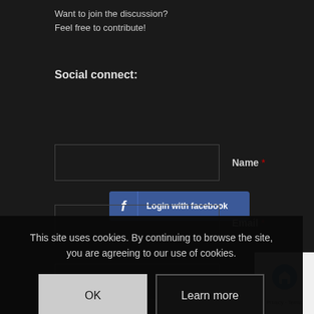Want to join the discussion?
Feel free to contribute!
Social connect:
[Figure (illustration): Facebook login button with 'f' icon and text 'Login with facebook']
Name *
Email *
Website
This site uses cookies. By continuing to browse the site, you are agreeing to our use of cookies.
OK
Learn more
Privacy · Terms